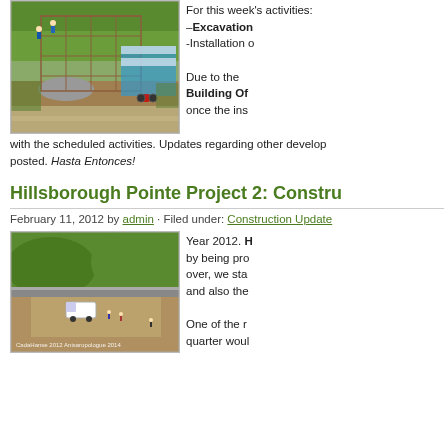[Figure (photo): Construction site with wooden scaffolding/formwork, workers in hard hats, gravel pile, motorcycle, blue hoarding fence, trees in background]
For this week's activities:
–Excavation
-Installation of

Due to the Building Of once the ins
with the scheduled activities. Updates regarding other develop posted. Hasta Entonces!
Hillsborough Pointe Project 2: Constru
February 11, 2012 by admin · Filed under: Construction Update
[Figure (photo): Aerial/elevated view of a cleared land/construction site with a white van, workers, and green hills in the background. Caption: CadaHanse 2012 Anisaropologue 2014]
Year 2012. H by being pro over, we sta and also the

One of the r quarter woul